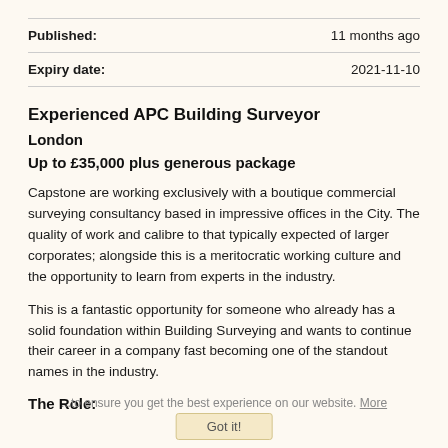| Field | Value |
| --- | --- |
| Published: | 11 months ago |
| Expiry date: | 2021-11-10 |
Experienced APC Building Surveyor
London
Up to £35,000 plus generous package
Capstone are working exclusively with a boutique commercial surveying consultancy based in impressive offices in the City. The quality of work and calibre to that typically expected of larger corporates; alongside this is a meritocratic working culture and the opportunity to learn from experts in the industry.
This is a fantastic opportunity for someone who already has a solid foundation within Building Surveying and wants to continue their career in a company fast becoming one of the standout names in the industry.
The Role: